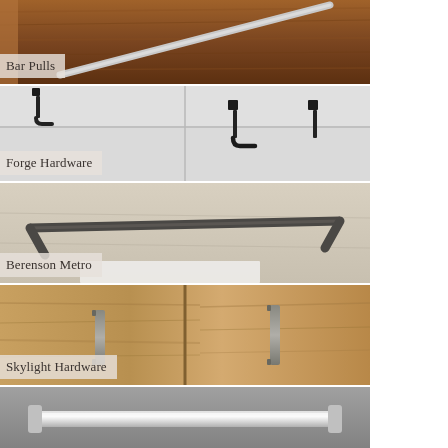[Figure (photo): Close-up photo of a bar pull handle on a dark walnut wood drawer]
Bar Pulls
[Figure (photo): Black forge hardware pulls on white shaker-style cabinet drawers]
Forge Hardware
[Figure (photo): Dark gunmetal Berenson Metro bar pulls on light wood/laminate surface]
Berenson Metro
[Figure (photo): Square bar pulls in brushed nickel/gunmetal finish on natural wood cabinet doors]
Skylight Hardware
[Figure (photo): Partial view of a chrome or brushed nickel handle on a gray surface]